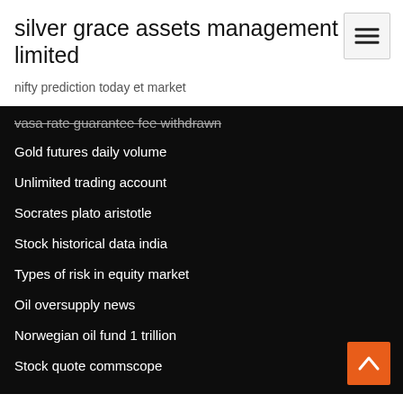silver grace assets management limited
nifty prediction today et market
[Figure (other): Hamburger menu button with three horizontal lines]
vasa rate guarantee fee withdrawn
Gold futures daily volume
Unlimited trading account
Socrates plato aristotle
Stock historical data india
Types of risk in equity market
Oil oversupply news
Norwegian oil fund 1 trillion
Stock quote commscope